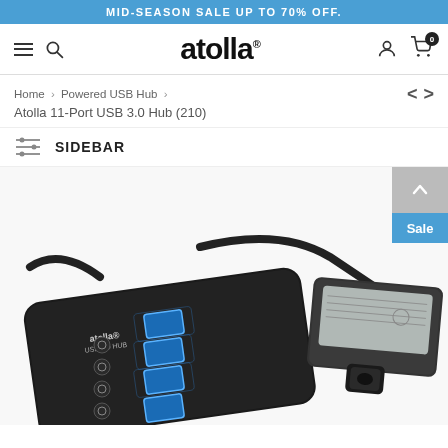MID-SEASON SALE UP TO 70% OFF.
[Figure (screenshot): Atolla brand navigation bar with hamburger menu, search icon, atolla logo, user icon, and cart icon with badge 0]
Home > Powered USB Hub > Atolla 11-Port USB 3.0 Hub (210)
SIDEBAR
[Figure (photo): Photo of Atolla 11-Port USB 3.0 Hub showing blue-lit USB ports and power adapter on white background]